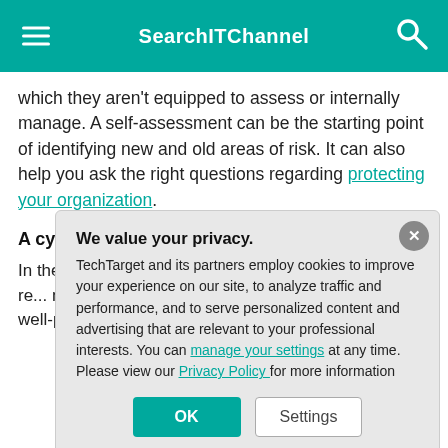SearchITChannel
which they aren't equipped to assess or internally manage. A self-assessment can be the starting point of identifying new and old areas of risk. It can also help you ask the right questions regarding protecting your organization.
A cybersecurity ... tracks security ...
In the world of cy... that an unforesee... simply not the re... multiple layers o... in their tracks ar... addition, a well-p... to quickly respon... situations. Asses...
We value your privacy. TechTarget and its partners employ cookies to improve your experience on our site, to analyze traffic and performance, and to serve personalized content and advertising that are relevant to your professional interests. You can manage your settings at any time. Please view our Privacy Policy for more information